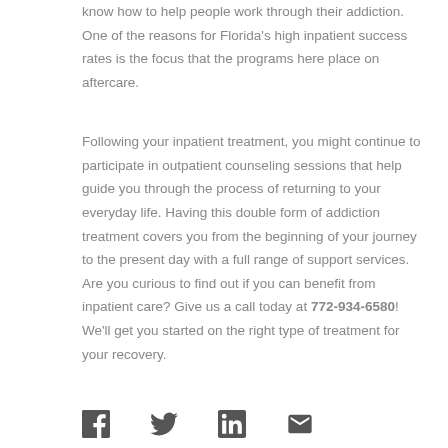know how to help people work through their addiction. One of the reasons for Florida's high inpatient success rates is the focus that the programs here place on aftercare.
Following your inpatient treatment, you might continue to participate in outpatient counseling sessions that help guide you through the process of returning to your everyday life. Having this double form of addiction treatment covers you from the beginning of your journey to the present day with a full range of support services. Are you curious to find out if you can benefit from inpatient care? Give us a call today at 772-934-6580! We'll get you started on the right type of treatment for your recovery.
[Figure (other): Social media share icons: Facebook, Twitter, LinkedIn, Email]